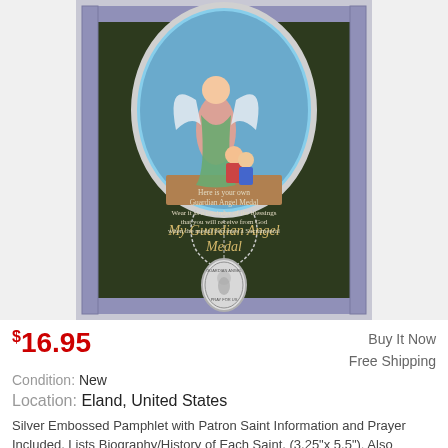[Figure (photo): Product photo of My Guardian Angel Medal - a silver medal necklace displayed on a dark green pamphlet card with decorative border. The card shows a large oval image of a Guardian Angel protecting two children on a bridge, with the text 'My Guardian Angel Medal' in script. Below is a small silver oval medal showing the Guardian Angel. Text on card reads: 'Here is your own Guardian Angel Medal. Wear it as a reminder of the blessings that you will receive from God when the medal becomes a Sacramental.']
$16.95
Buy It Now
Free Shipping
Condition: New
Location: Eland, United States
Silver Embossed Pamphlet with Patron Saint Information and Prayer Included. Lists Biography/History of Each Saint. (3.25"x 5.5"). Also